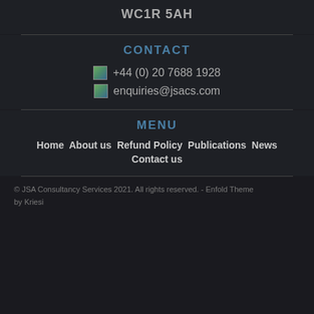WC1R 5AH
CONTACT
+44 (0) 20 7688 1928
enquiries@jsacs.com
MENU
Home About us Refund Policy Publications News
Contact us
© JSA Consultancy Services 2021. All rights reserved. - Enfold Theme by Kriesi